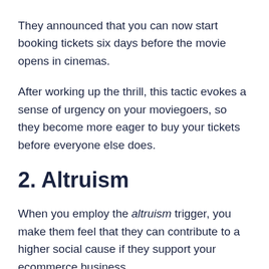They announced that you can now start booking tickets six days before the movie opens in cinemas.
After working up the thrill, this tactic evokes a sense of urgency on your moviegoers, so they become more eager to buy your tickets before everyone else does.
2. Altruism
When you employ the altruism trigger, you make them feel that they can contribute to a higher social cause if they support your ecommerce business.